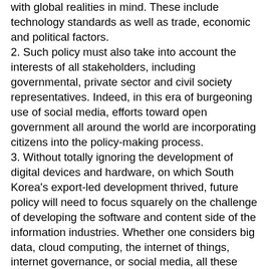with global realities in mind. These include technology standards as well as trade, economic and political factors. 2. Such policy must also take into account the interests of all stakeholders, including governmental, private sector and civil society representatives. Indeed, in this era of burgeoning use of social media, efforts toward open government all around the world are incorporating citizens into the policy-making process. 3. Without totally ignoring the development of digital devices and hardware, on which South Korea's export-led development thrived, future policy will need to focus squarely on the challenge of developing the software and content side of the information industries. Whether one considers big data, cloud computing, the internet of things, internet governance, or social media, all these phenomena underscore the centrality of content. 4.Future ICT policy should be based on a broad understanding and interpretation of convergence that acknowledges the pervasive impact of ICT throughout the economy as a general purpose technology. Part of the problem in government policy making is that convergence means different things to different people, resulting in policies that may reflect competing interpretations of what digital